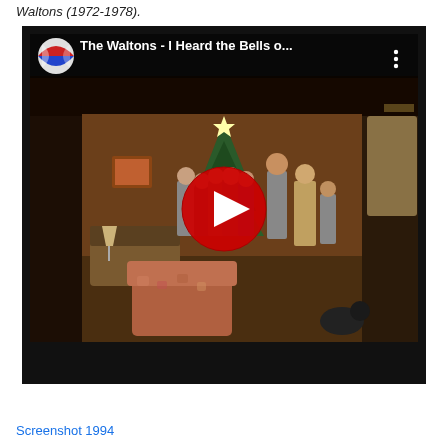Waltons (1972-1978).
[Figure (screenshot): YouTube video thumbnail screenshot showing 'The Waltons - I Heard the Bells o...' with a Christmas scene from The Waltons TV show, family gathered around a Christmas tree in a living room, with a YouTube play button overlay. Channel icon visible top left.]
Screenshot 1994